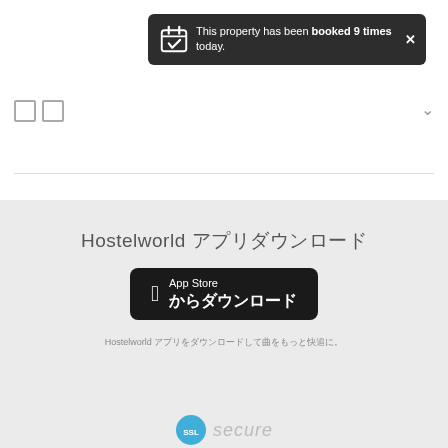[Figure (screenshot): Notification tooltip: 'This property has been booked 9 times today.' with calendar checkmark icon and X close button, dark background]
□□
[Figure (screenshot): App Store download button (black rounded rectangle with Apple logo)]
Hostelworld アプリダウンロード
Hostelworld アプリをダウンロードして旅をもっと快適に。
[Figure (logo): SSL Secure badge]